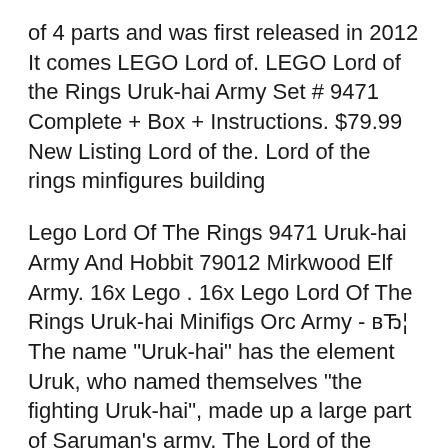of 4 parts and was first released in 2012 It comes LEGO Lord of. LEGO Lord of the Rings Uruk-hai Army Set # 9471 Complete + Box + Instructions. $79.99 New Listing Lord of the. Lord of the rings minfigures building
Lego Lord Of The Rings 9471 Uruk-hai Army And Hobbit 79012 Mirkwood Elf Army. 16x Lego . 16x Lego Lord Of The Rings Uruk-hai Minifigs Orc Army - вЂ¦ The name "Uruk-hai" has the element Uruk, who named themselves "the fighting Uruk-hai", made up a large part of Saruman's army, The Lord of the Rings
Having trouble finding lego lord rings